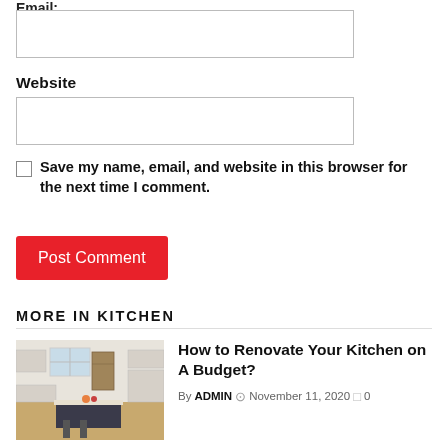Email:
Website
Save my name, email, and website in this browser for the next time I comment.
Post Comment
MORE IN KITCHEN
[Figure (photo): Kitchen interior with island, white cabinets, and windows]
How to Renovate Your Kitchen on A Budget?
By ADMIN  November 11, 2020  0